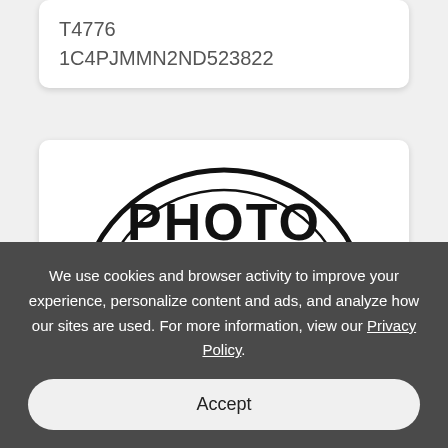T4776
1C4PJMMN2ND523822
[Figure (logo): PHOTO logo with a camera illustration inside a semicircle arc]
We use cookies and browser activity to improve your experience, personalize content and ads, and analyze how our sites are used. For more information, view our Privacy Policy.
Accept